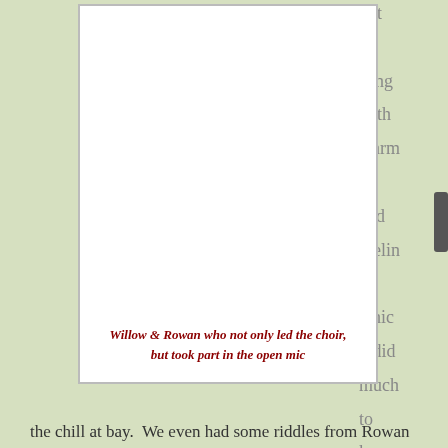[Figure (photo): A white/blank image frame (photo placeholder) with a caption below reading 'Willow & Rowan who not only led the choir, but took part in the open mic']
Willow & Rowan who not only led the choir, but took part in the open mic
but all sung with warmth and feeling which did much to keep
the chill at bay.  We even had some riddles from Rowan